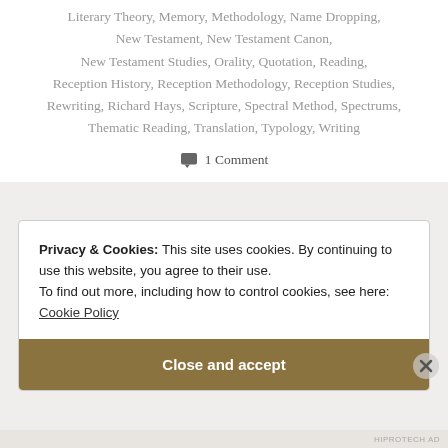Literary Theory, Memory, Methodology, Name Dropping, New Testament, New Testament Canon, New Testament Studies, Orality, Quotation, Reading, Reception History, Reception Methodology, Reception Studies, Rewriting, Richard Hays, Scripture, Spectral Method, Spectrums, Thematic Reading, Translation, Typology, Writing
1 Comment
Privacy & Cookies: This site uses cookies. By continuing to use this website, you agree to their use. To find out more, including how to control cookies, see here: Cookie Policy
Close and accept